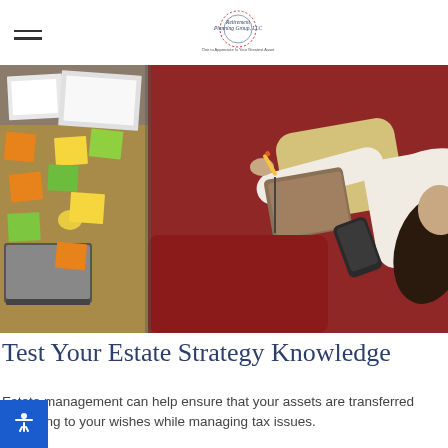Retirement Planning Group, LLC — One to Appreciate Is Your Greatest Asset
[Figure (photo): Overhead view split image: left side shows a wooden desk with sticky notes in orange, yellow, green, and white scattered across it along with a laptop; right side shows a woman in a white sweater lying on a red patterned rug, writing in a notebook while holding a smartphone.]
Test Your Estate Strategy Knowledge
Estate management can help ensure that your assets are transferred according to your wishes while managing tax issues.